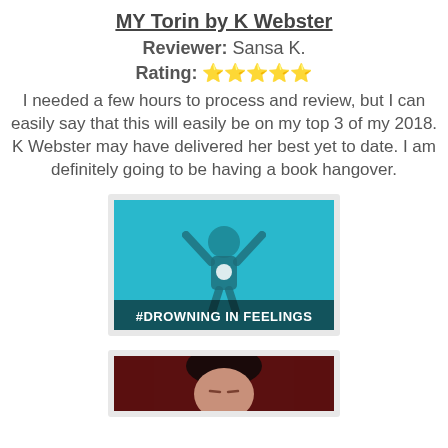MY Torin by K Webster
Reviewer: Sansa K.
Rating: 🌟🌟🌟🌟🌟
I needed a few hours to process and review, but I can easily say that this will easily be on my top 3 of my 2018. K Webster may have delivered her best yet to date. I am definitely going to be having a book hangover.
[Figure (photo): GIF/image with teal background showing a person with arms raised, captioned '#DROWNING IN FEELINGS']
[Figure (photo): Partial image with dark red background showing a person with dark hair, partially cropped]